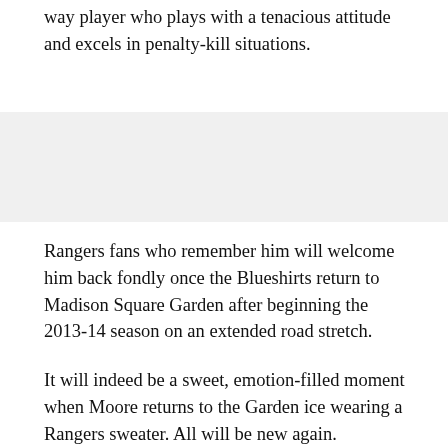way player who plays with a tenacious attitude and excels in penalty-kill situations.
[Figure (other): Gray placeholder band representing an image or advertisement]
Rangers fans who remember him will welcome him back fondly once the Blueshirts return to Madison Square Garden after beginning the 2013-14 season on an extended road stretch.
It will indeed be a sweet, emotion-filled moment when Moore returns to the Garden ice wearing a Rangers sweater. All will be new again.
Please visit the Katie Moore Foundation